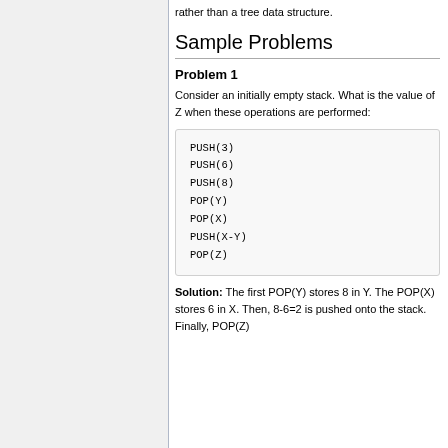rather than a tree data structure.
Sample Problems
Problem 1
Consider an initially empty stack. What is the value of Z when these operations are performed:
PUSH(3)
PUSH(6)
PUSH(8)
POP(Y)
POP(X)
PUSH(X-Y)
POP(Z)
Solution: The first POP(Y) stores 8 in Y. The POP(X) stores 6 in X. Then, 8-6=2 is pushed onto the stack. Finally, POP(Z)